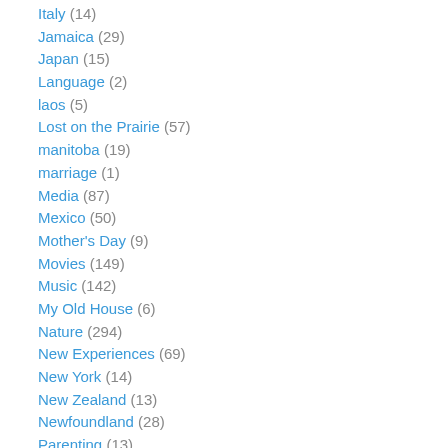Italy (14)
Jamaica (29)
Japan (15)
Language (2)
laos (5)
Lost on the Prairie (57)
manitoba (19)
marriage (1)
Media (87)
Mexico (50)
Mother's Day (9)
Movies (149)
Music (142)
My Old House (6)
Nature (294)
New Experiences (69)
New York (14)
New Zealand (13)
Newfoundland (28)
Parenting (13)